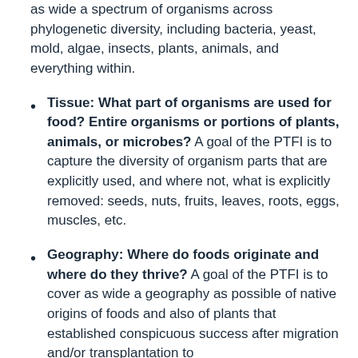as wide a spectrum of organisms across phylogenetic diversity, including bacteria, yeast, mold, algae, insects, plants, animals, and everything within.
Tissue: What part of organisms are used for food? Entire organisms or portions of plants, animals, or microbes? A goal of the PTFI is to capture the diversity of organism parts that are explicitly used, and where not, what is explicitly removed: seeds, nuts, fruits, leaves, roots, eggs, muscles, etc.
Geography: Where do foods originate and where do they thrive? A goal of the PTFI is to cover as wide a geography as possible of native origins of foods and also of plants that established conspicuous success after migration and/or transplantation to